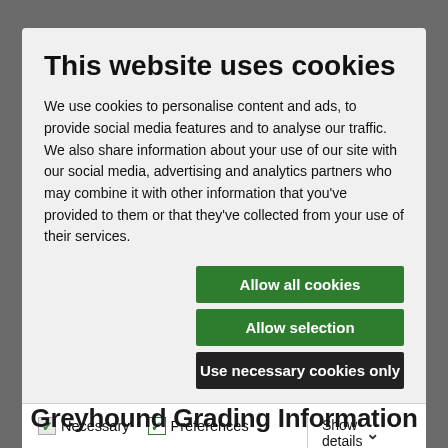This website uses cookies
We use cookies to personalise content and ads, to provide social media features and to analyse our traffic. We also share information about your use of our site with our social media, advertising and analytics partners who may combine it with other information that you've provided to them or that they've collected from your use of their services.
Allow all cookies
Allow selection
Use necessary cookies only
Necessary  Preferences  Statistics  Show details  Marketing
Greyhound Grading Information